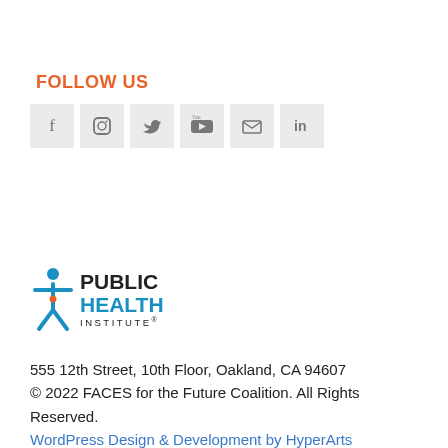FOLLOW US
[Figure (illustration): Social media icons row: Facebook, Instagram, Twitter, YouTube, Email, LinkedIn — each in a light grey square box]
[Figure (logo): Public Health Institute logo — stylized figure icon in blue with text PUBLIC HEALTH INSTITUTE]
555 12th Street, 10th Floor, Oakland, CA 94607
© 2022 FACES for the Future Coalition. All Rights Reserved.
WordPress Design & Development by HyperArts